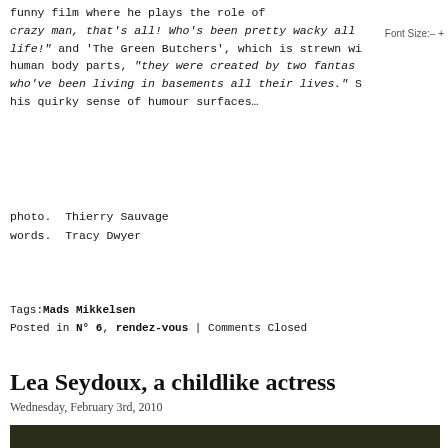funny film where he plays the role of crazy man, that's all! Who's been pretty wacky all life!" and 'The Green Butchers', which is strewn wi human body parts, "they were created by two fantas who've been living in basements all their lives." S his quirky sense of humour surfaces…
Font Size:- +
photo. Thierry Sauvage
words. Tracy Dwyer
Tags:Mads Mikkelsen
Posted in N° 6, rendez-vous | Comments Closed
Lea Seydoux, a childlike actress
Wednesday, February 3rd, 2010
[Figure (photo): Dark blurry bokeh photo, dark olive/green tones with light circles]